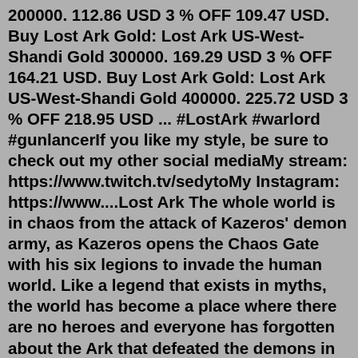200000. 112.86 USD 3 % OFF 109.47 USD. Buy Lost Ark Gold: Lost Ark US-West-Shandi Gold 300000. 169.29 USD 3 % OFF 164.21 USD. Buy Lost Ark Gold: Lost Ark US-West-Shandi Gold 400000. 225.72 USD 3 % OFF 218.95 USD ... #LostArk #warlord #gunlancerIf you like my style, be sure to check out my other social mediaMy stream: https://www.twitch.tv/sedytoMy Instagram: https://www....Lost Ark The whole world is in chaos from the attack of Kazeros' demon army, as Kazeros opens the Chaos Gate with his six legions to invade the human world. Like a legend that exists in myths, the world has become a place where there are no heroes and everyone has forgotten about the Ark that defeated the demons in the past. May 12, 2022 · Cals Lost Ark. Cals is one of the most valuable sailors you will want to have on your Esotoc crews as it provides a whopping +2.2 Base sailing speed while having balanced stats, and if you combine it with both his Epic and Legendary versions, that's a massive bonus